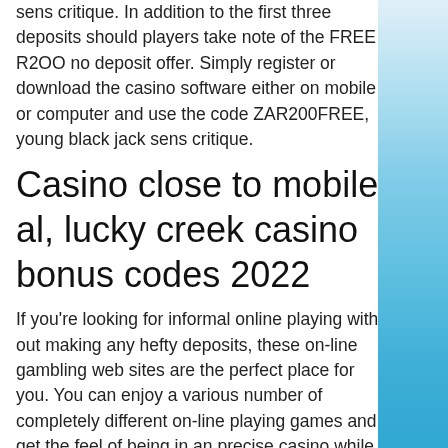sens critique. In addition to the first three deposits should players take note of the FREE R2OO no deposit offer. Simply register or download the casino software either on mobile or computer and use the code ZAR200FREE, young black jack sens critique.
Casino close to mobile al, lucky creek casino bonus codes 2022
If you're looking for informal online playing with out making any hefty deposits, these on-line gambling web sites are the perfect place for you. You can enjoy a various number of completely different on-line playing games and get the feel of being in an precise casino while lying comfortably in your bed on a weekend night. Due to the important nature of the operations of any on-